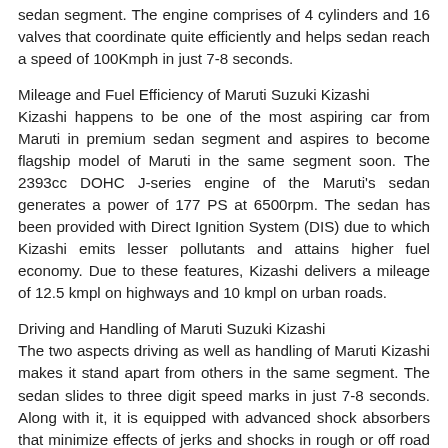sedan segment. The engine comprises of 4 cylinders and 16 valves that coordinate quite efficiently and helps sedan reach a speed of 100Kmph in just 7-8 seconds.
Mileage and Fuel Efficiency of Maruti Suzuki Kizashi
Kizashi happens to be one of the most aspiring car from Maruti in premium sedan segment and aspires to become flagship model of Maruti in the same segment soon. The 2393cc DOHC J-series engine of the Maruti's sedan generates a power of 177 PS at 6500rpm. The sedan has been provided with Direct Ignition System (DIS) due to which Kizashi emits lesser pollutants and attains higher fuel economy. Due to these features, Kizashi delivers a mileage of 12.5 kmpl on highways and 10 kmpl on urban roads.
Driving and Handling of Maruti Suzuki Kizashi
The two aspects driving as well as handling of Maruti Kizashi makes it stand apart from others in the same segment. The sedan slides to three digit speed marks in just 7-8 seconds. Along with it, it is equipped with advanced shock absorbers that minimize effects of jerks and shocks in rough or off road terrains. This feature makes this sedan compatible for all